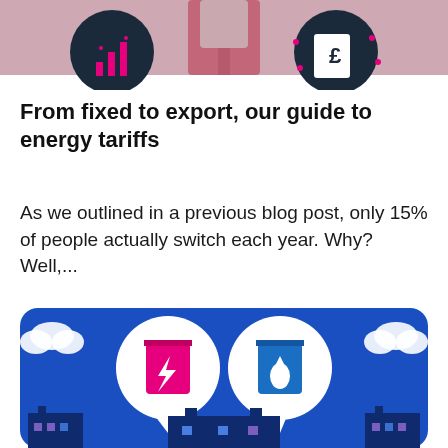[Figure (illustration): Top banner illustration showing icons: bar chart icon in dark circle, a road/path shape in pink/mauve, and a pound sign bill in a dark circle, on a light pink/mauve background strip]
From fixed to export, our guide to energy tariffs
As we outlined in a previous blog post, only 15% of people actually switch each year. Why?  Well,...
Read More
[Figure (illustration): Bottom illustration showing a blue background with illustrated buildings/houses in dark blue, and two large white speech bubble circles containing energy bill icons - one pink with a lightning bolt and one blue with a water drop, representing electricity and gas bills]